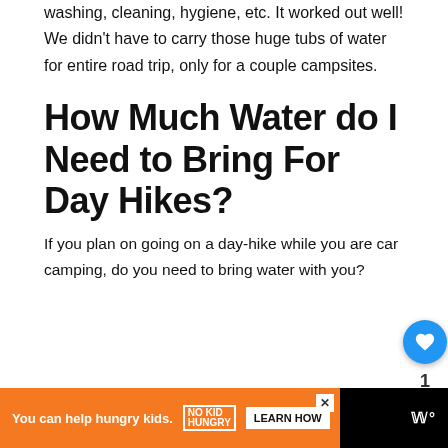washing, cleaning, hygiene, etc. It worked out well! We didn't have to carry those huge tubs of water for entire road trip, only for a couple campsites.
How Much Water do I Need to Bring For Day Hikes?
If you plan on going on a day-hike while you are car camping, do you need to bring water with you?
You can help hungry kids. | NO KID HUNGRY | LEARN HOW